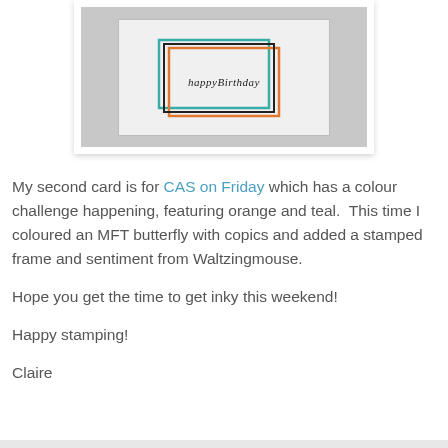[Figure (photo): A photo of a handmade birthday card with geometric frame lines in teal, orange, and black, with 'happy Birthday' written in script in the center, placed on a light background.]
My second card is for CAS on Friday which has a colour challenge happening, featuring orange and teal.  This time I coloured an MFT butterfly with copics and added a stamped frame and sentiment from Waltzingmouse.
Hope you get the time to get inky this weekend!
Happy stamping!
Claire